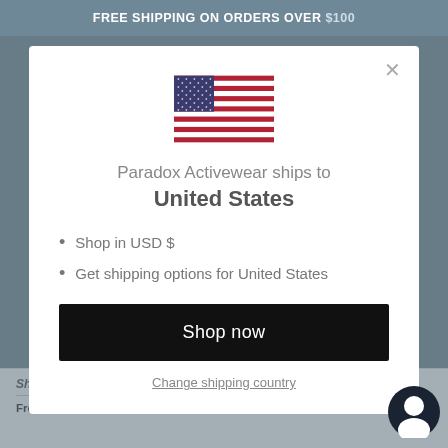FREE SHIPPING ON ORDERS OVER $100
[Figure (illustration): US flag SVG illustration shown in modal dialog]
Paradox Activewear ships to United States
Shop in USD $
Get shipping options for United States
Shop now
Change shipping country
Shipping & Returns
Free shipping for all orders $100